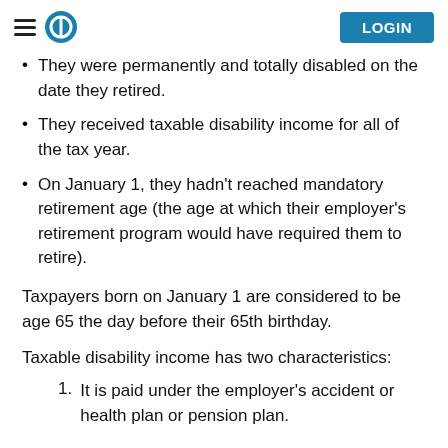LOGIN
They were permanently and totally disabled on the date they retired.
They received taxable disability income for all of the tax year.
On January 1, they hadn't reached mandatory retirement age (the age at which their employer's retirement program would have required them to retire).
Taxpayers born on January 1 are considered to be age 65 the day before their 65th birthday.
Taxable disability income has two characteristics:
It is paid under the employer's accident or health plan or pension plan.